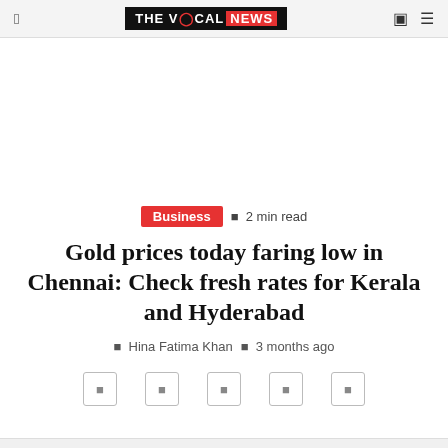THE VOCAL NEWS
Business · 2 min read
Gold prices today faring low in Chennai: Check fresh rates for Kerala and Hyderabad
Hina Fatima Khan · 3 months ago